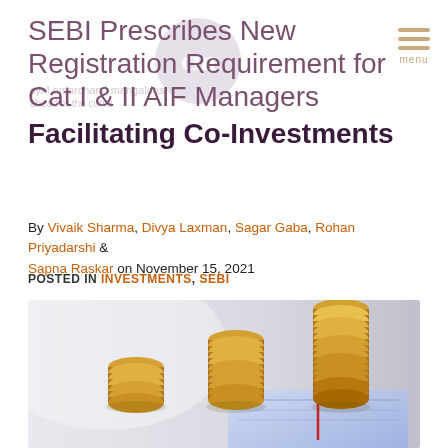SEBI Prescribes New Registration Requirement for Cat I & II AIF Managers Facilitating Co-Investments
By Vivaik Sharma, Divya Laxman, Sagar Gaba, Rohan Priyadarshi & Sapna Raskar on November 15, 2021
POSTED IN INVESTMENTS, SEBI
[Figure (photo): Photo of stacked gold coins in ascending height order, placed on a financial chart/document background, suggesting investment growth.]